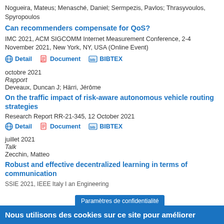Nogueira, Mateus; Menasché, Daniel; Sermpezis, Pavlos; Thrasyvoulos, Spyropoulos
Can recommenders compensate for QoS?
IMC 2021, ACM SIGCOMM Internet Measurement Conference, 2-4 November 2021, New York, NY, USA (Online Event)
Detail | Document | BIBTEX
octobre 2021
Rapport
Deveaux, Duncan J; Härri, Jérôme
On the traffic impact of risk-aware autonomous vehicle routing strategies
Research Report RR-21-345, 12 October 2021
Detail | Document | BIBTEX
juillet 2021
Talk
Zecchin, Matteo
Robust and effective decentralized learning in terms of communication
SSIE 2021, IEEE Italy...an Engineering
Nous utilisons des cookies sur ce site pour améliorer
Paramètres de confidentialité